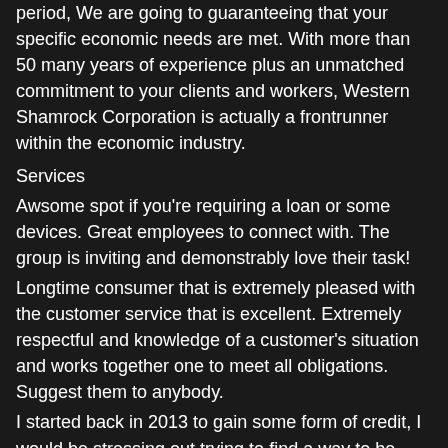period, We are going to guaranteeing that your specific economic needs are met. With more than 50 many years of experience plus an unmatched commitment to your clients and workers, Western Shamrock Corporation is actually a frontrunner within the economic industry.
Services
Awsome spot if you're requiring a loan or some devices. Great employees to connect with. The group is inviting and demonstrably love their task!
Longtime consumer that is extremely pleased with the customer service that is excellent. Extremely respectful and knowledge of a customer's situation and works together one to meet all obligations. Suggest them to anybody.
I started back in 2013 to gain some form of credit, I would be stressing out trying to find a way to be credible in other company's eyes if it wasn't for this place, when. Now We have a exceptional rating because we established credit going right through them. They assisted guide me personally by teaching me the most effective methods to manage and build a great title me to get a car for myself which allowed!
Always friendly and helpful. I've been coming right right here for the great deal of years whenever I'm in a bind and additionally they constantly assist me down. They've been great. Would certainly